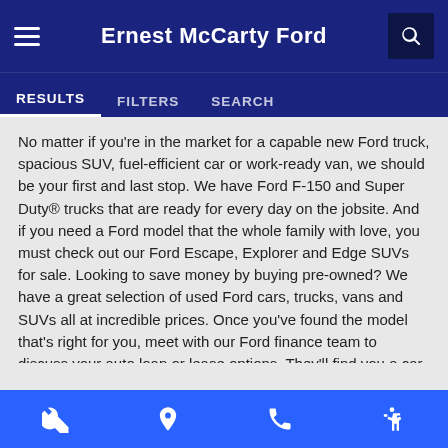Ernest McCarty Ford
RESULTS   FILTERS   SEARCH
No matter if you're in the market for a capable new Ford truck, spacious SUV, fuel-efficient car or work-ready van, we should be your first and last stop. We have Ford F-150 and Super Duty® trucks that are ready for every day on the jobsite. And if you need a Ford model that the whole family with love, you must check out our Ford Escape, Explorer and Edge SUVs for sale. Looking to save money by buying pre-owned? We have a great selection of used Ford cars, trucks, vans and SUVs all at incredible prices. Once you've found the model that's right for you, meet with our Ford finance team to discuss your auto loan or lease options. They'll find you a car payment plan that works for your budget.
Is your Ford maintenance light on? Or, are you in need of more extensive